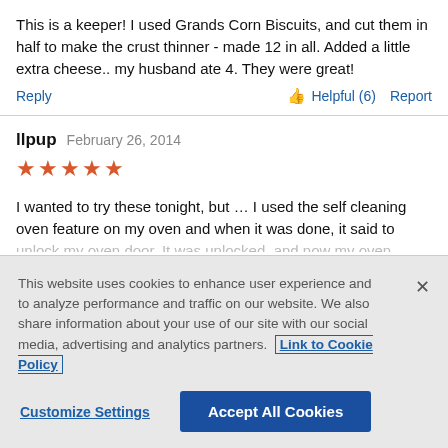This is a keeper! I used Grands Corn Biscuits, and cut them in half to make the crust thinner - made 12 in all. Added a little extra cheese.. my husband ate 4. They were great!
Reply | 👍 Helpful (6) | Report
llpup  February 26, 2014
★★★★★
I wanted to try these tonight, but … I used the self cleaning oven feature on my oven and when it was done, it said to unlock my oven door. It was unlocked, and now my oven
This website uses cookies to enhance user experience and to analyze performance and traffic on our website. We also share information about your use of our site with our social media, advertising and analytics partners. Link to Cookie Policy
Customize Settings | Accept All Cookies